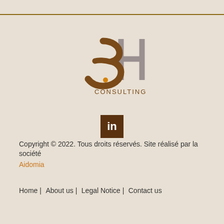[Figure (logo): 3H Consulting logo — stylized '3H' with curving brown letterforms and 'CONSULTING' text below in brown, with an orange dot accent]
[Figure (logo): LinkedIn social media icon — white 'in' letters on dark brown/chocolate square background]
Copyright © 2022. Tous droits réservés. Site réalisé par la société Aidomia
Home | About us | Legal Notice | Contact us